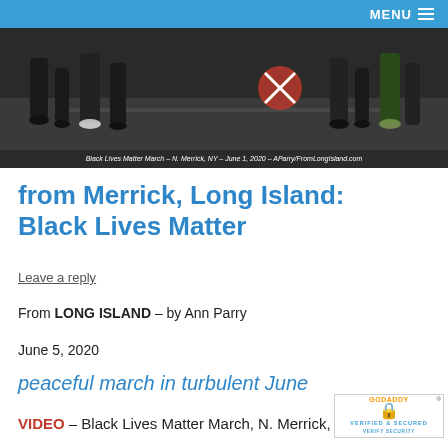MENU
[Figure (photo): Black Lives Matter march photograph showing marchers' legs and feet on a street with a red windmill decoration visible. Caption reads: Black Lives Matter March – N. Merrick, NY – June 1, 2020 – AParry/FromLongIsland.com]
from Merrick, Long Island: Black Lives Matter
Leave a reply
From LONG ISLAND – by Ann Parry
(annparry.com)
June 5, 2020
peaceful march in turbulent June
VIDEO – Black Lives Matter March, N. Merrick,
[Figure (logo): GoDaddy Verified & Secured badge with lock icon]